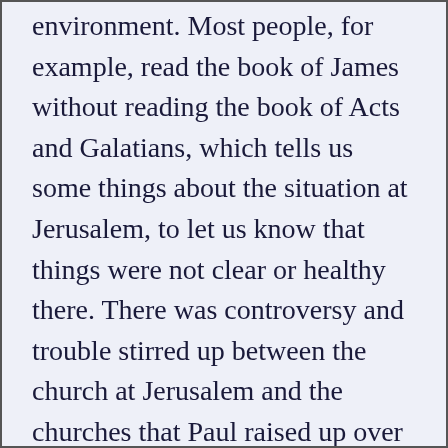environment. Most people, for example, read the book of James without reading the book of Acts and Galatians, which tells us some things about the situation at Jerusalem, to let us know that things were not clear or healthy there. There was controversy and trouble stirred up between the church at Jerusalem and the churches that Paul raised up over the matte of the law. There were misinterpretations and misrepresentations of the message of justification by faith. James being